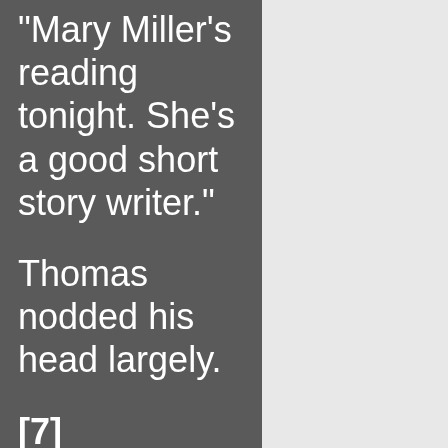“Mary Miller’s reading tonight. She’s a good short story writer.”
Thomas nodded his head largely.
[7]
The only space left in the joint was on the concrete